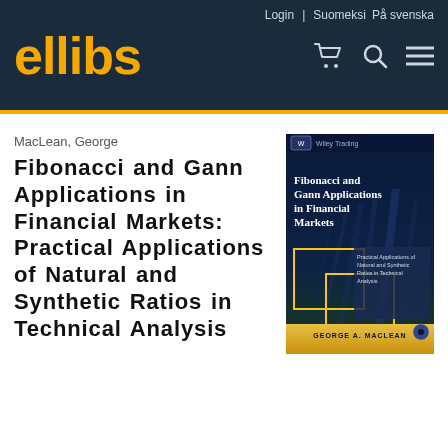Login | Suomeksi På svenska
[Figure (logo): ellibs logo in gold/orange text on dark navy background]
MacLean, George
Fibonacci and Gann Applications in Financial Markets: Practical Applications of Natural and Synthetic Ratios in Technical Analysis
[Figure (photo): Book cover of Fibonacci and Gann Applications in Financial Markets by George A. MacLean, Wiley Trading series, dark blue cover with city building imagery]